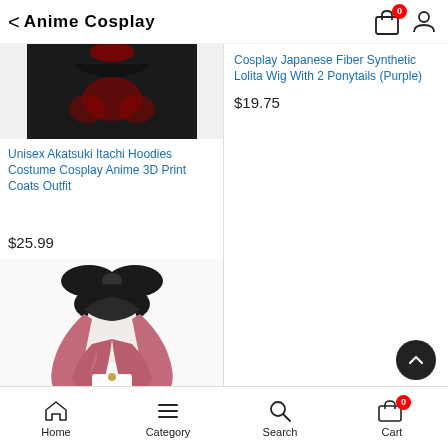Anime Cosplay
[Figure (photo): Partial view of an Akatsuki Itachi hoodie costume, showing the top portion of the black garment with red cloud emblems]
Unisex Akatsuki Itachi Hoodies Costume Cosplay Anime 3D Print Coats Outfit
$25.99
[Figure (photo): Pink and black long wavy wig with cat ear bow accessory on a white mannequin head. The wig has dark roots transitioning to pink/rose color with long wavy strands and a large black bow on top.]
Cosplay Japanese Fiber Synthetic Lolita Wig With 2 Ponytails (Purple)
$19.75
Home  Category  Search  Cart